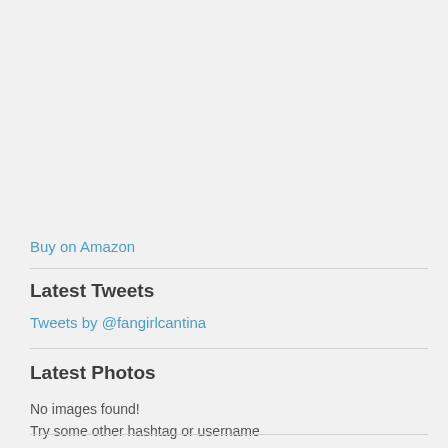Buy on Amazon
Latest Tweets
Tweets by @fangirlcantina
Latest Photos
No images found!
Try some other hashtag or username